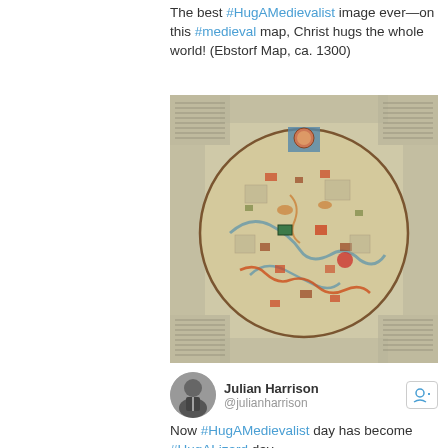The best #HugAMedievalist image ever—on this #medieval map, Christ hugs the whole world! (Ebstorf Map, ca. 1300)
[Figure (map): The Ebstorf Map (ca. 1300), a medieval mappa mundi depicting the world as a circle with intricate illustrations of cities, creatures, and geographical features in faded parchment colors of brown, green, red, and blue.]
Julian Harrison @julianharrison
Now #HugAMedievalist day has become #HugALizard day ...